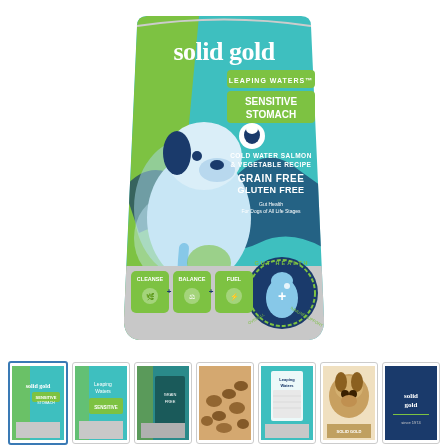[Figure (photo): Solid Gold Leaping Waters Sensitive Stomach Cold Water Salmon & Vegetable Recipe Grain Free Gluten Free dog food bag, featuring an illustrated dog graphic, gut health branding, and cleanse/balance/fuel icons at the bottom]
[Figure (photo): Thumbnail strip with 7 product images: front of bag, side of bag, close-up of kibble, nutrition panel, another view, dog photo with brand text, and Solid Gold logo on blue background]